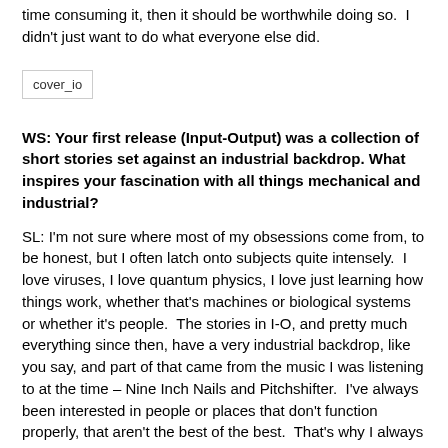time consuming it, then it should be worthwhile doing so. I didn't just want to do what everyone else did.
[Figure (other): Book cover image placeholder labeled 'cover_io']
WS: Your first release (Input-Output) was a collection of short stories set against an industrial backdrop. What inspires your fascination with all things mechanical and industrial?
SL: I'm not sure where most of my obsessions come from, to be honest, but I often latch onto subjects quite intensely. I love viruses, I love quantum physics, I love just learning how things work, whether that's machines or biological systems or whether it's people. The stories in I-O, and pretty much everything since then, have a very industrial backdrop, like you say, and part of that came from the music I was listening to at the time – Nine Inch Nails and Pitchshifter. I've always been interested in people or places that don't function properly, that aren't the best of the best. That's why I always liked Star Wars but not Star Trek. Star Wars was about